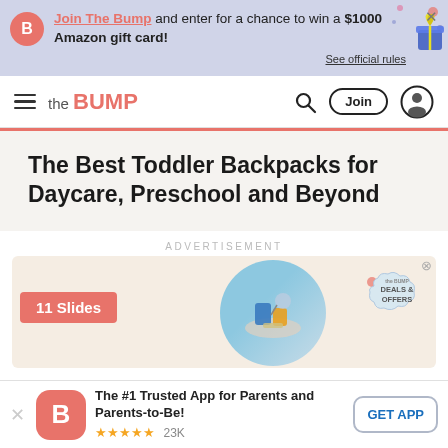Join The Bump and enter for a chance to win a $1000 Amazon gift card! See official rules
the BUMP — navigation bar with Join and search
The Best Toddler Backpacks for Daycare, Preschool and Beyond
ADVERTISEMENT
[Figure (infographic): Ad card showing 11 Slides badge and circular image of toddler items with Bump Deals & Offers badge]
The #1 Trusted App for Parents and Parents-to-Be! ★★★★★ 23K  GET APP